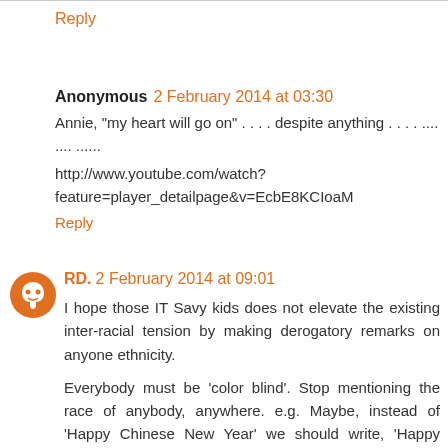Reply
Anonymous 2 February 2014 at 03:30
Annie, "my heart will go on" . . . . despite anything . . . . .... .... .......
http://www.youtube.com/watch?feature=player_detailpage&v=EcbE8KCIoaM
Reply
RD. 2 February 2014 at 09:01
I hope those IT Savy kids does not elevate the existing inter-racial tension by making derogatory remarks on anyone ethnicity.
Everybody must be 'color blind'. Stop mentioning the race of anybody, anywhere. e.g. Maybe, instead of 'Happy Chinese New Year' we should write, 'Happy Lunar New